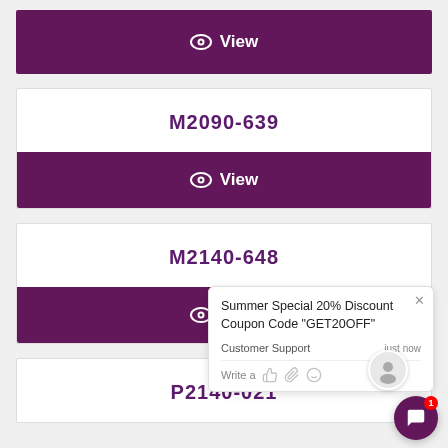[Figure (screenshot): Purple 'View' button with eye icon at the top of the page]
M2090-639
[Figure (screenshot): Purple 'View' button with eye icon]
M2140-648
[Figure (screenshot): Purple 'View' button with eye icon]
P2140-021
[Figure (screenshot): Chat popup with Summer Special 20% Discount Coupon Code GET20OFF from Customer Support, with agent avatar and chat bubble button]